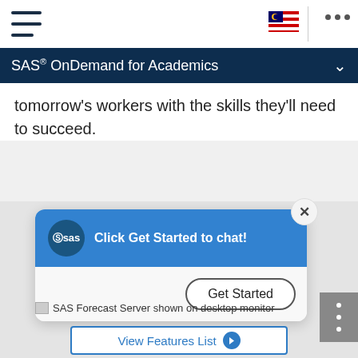[Figure (screenshot): Top navigation bar with hamburger menu, Malaysian flag, and three-dot menu]
SAS® OnDemand for Academics
tomorrow's workers with the skills they'll need to succeed.
[Figure (screenshot): Chat popup widget with SAS logo, 'Click Get Started to chat!' message, close button, and Get Started button]
SAS Forecast Server shown on desktop monitor
[Figure (other): View Features List button with blue border and arrow circle]